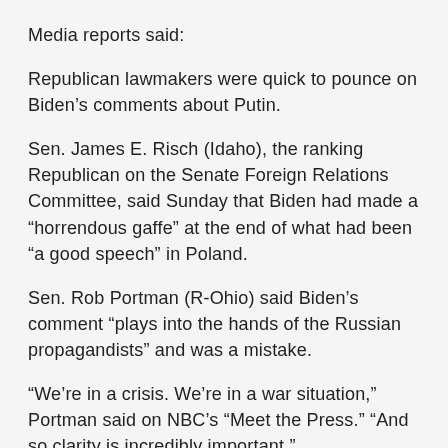Media reports said:
Republican lawmakers were quick to pounce on Biden’s comments about Putin.
Sen. James E. Risch (Idaho), the ranking Republican on the Senate Foreign Relations Committee, said Sunday that Biden had made a “horrendous gaffe” at the end of what had been “a good speech” in Poland.
Sen. Rob Portman (R-Ohio) said Biden’s comment “plays into the hands of the Russian propagandists” and was a mistake.
“We’re in a crisis. We’re in a war situation,” Portman said on NBC’s “Meet the Press.” “And so clarity is incredibly important.”